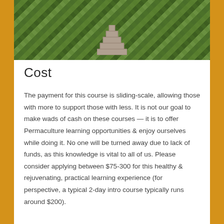[Figure (photo): Outdoor photo showing stone steps leading up through lush green vegetation and bushes, with a brick building visible in the background.]
Cost
The payment for this course is sliding-scale, allowing those with more to support those with less. It is not our goal to make wads of cash on these courses — it is to offer Permaculture learning opportunities & enjoy ourselves while doing it. No one will be turned away due to lack of funds, as this knowledge is vital to all of us. Please consider applying between $75-300 for this healthy & rejuvenating, practical learning experience (for perspective, a typical 2-day intro course typically runs around $200).